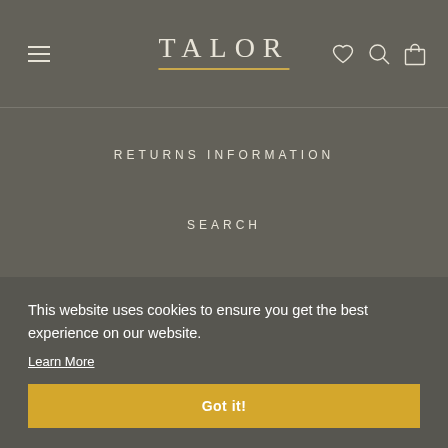TALOR
RETURNS INFORMATION
SEARCH
TERMS OF SERVICE
PRIVACY POLICY
This website uses cookies to ensure you get the best experience on our website.
Learn More
Got it!